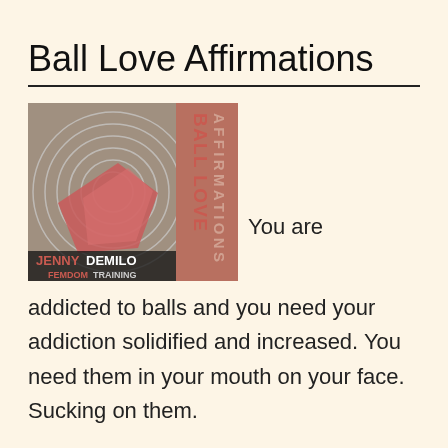Ball Love Affirmations
[Figure (illustration): Book/audio cover art for 'Ball Love Affirmations' by Jenny Demilo Femdom Training. Left side shows a swirling abstract image with a reddish-pink geometric shape. Right side has vertical text reading 'BALL LOVE' and 'AFFIRMATIONS' in large letters. Bottom text reads 'JENNY DEMILO FEMDOM TRAINING'.]
You are addicted to balls and you need your addiction solidified and increased. You need them in your mouth on your face. Sucking on them.